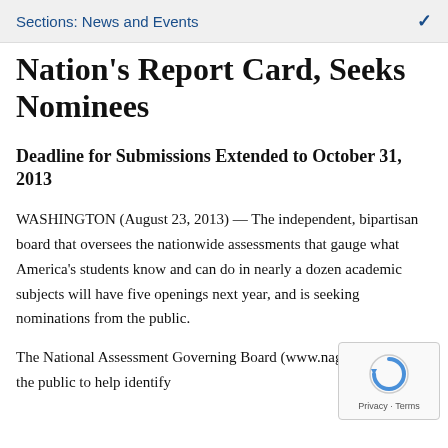Sections: News and Events
Nation's Report Card, Seeks Nominees
Deadline for Submissions Extended to October 31, 2013
WASHINGTON (August 23, 2013) — The independent, bipartisan board that oversees the nationwide assessments that gauge what America's students know and can do in nearly a dozen academic subjects will have five openings next year, and is seeking nominations from the public.
The National Assessment Governing Board (www.nagb.gov) wants the public to help identify